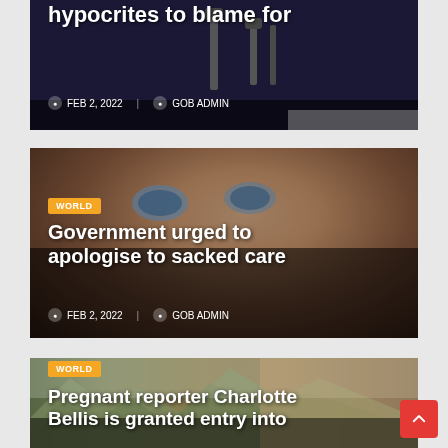[Figure (photo): Dark background news card with partial headline text visible at top, microphones visible, date and author metadata shown]
hypocrites to blame for
FEB 2, 2022  GOB ADMIN
[Figure (photo): Close-up portrait of a blonde woman with blue eyes, WORLD badge overlay, news card style]
WORLD
Government urged to apologise to sacked care
FEB 2, 2022  GOB ADMIN
[Figure (photo): Mountainous landscape with city in background and blonde woman in foreground wearing headscarf, WORLD badge overlay]
WORLD
Pregnant reporter Charlotte Bellis is granted entry into